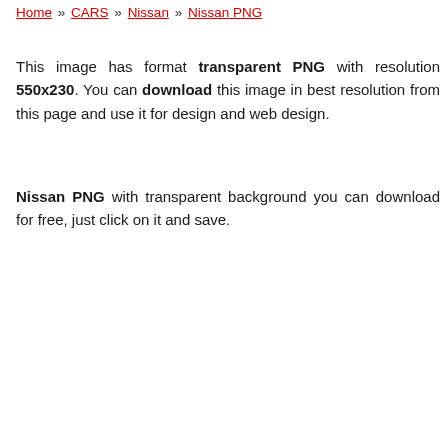Home » CARS » Nissan » Nissan PNG
This image has format transparent PNG with resolution 550x230. You can download this image in best resolution from this page and use it for design and web design.
Nissan PNG with transparent background you can download for free, just click on it and save.